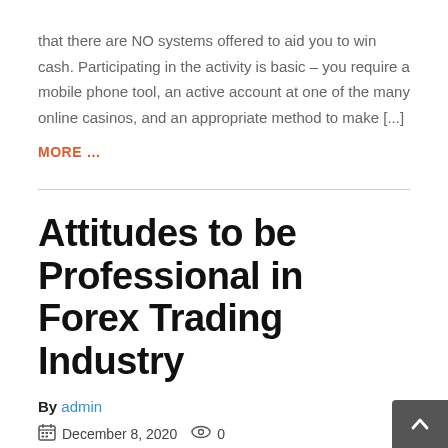that there are NO systems offered to aid you to win cash. Participating in the activity is basic – you require a mobile phone tool, an active account at one of the many online casinos, and an appropriate method to make [...]
MORE …
Attitudes to be Professional in Forex Trading Industry
By admin
December 8, 2020  0
Many people think that Forex trading is a kind of gambling. But this is not true. The person who makes a decision to be a trader never views Forex trading as a gamble...